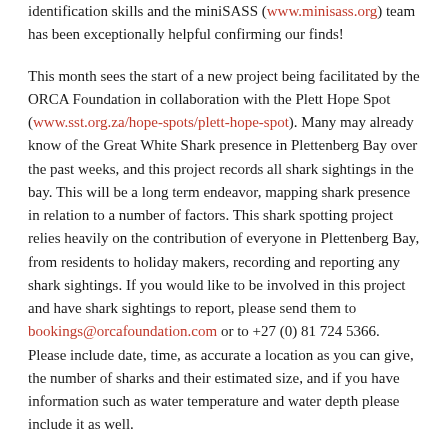identification skills and the miniSASS (www.minisass.org) team has been exceptionally helpful confirming our finds!
This month sees the start of a new project being facilitated by the ORCA Foundation in collaboration with the Plett Hope Spot (www.sst.org.za/hope-spots/plett-hope-spot). Many may already know of the Great White Shark presence in Plettenberg Bay over the past weeks, and this project records all shark sightings in the bay. This will be a long term endeavor, mapping shark presence in relation to a number of factors. This shark spotting project relies heavily on the contribution of everyone in Plettenberg Bay, from residents to holiday makers, recording and reporting any shark sightings. If you would like to be involved in this project and have shark sightings to report, please send them to bookings@orcafoundation.com or to +27 (0) 81 724 5366. Please include date, time, as accurate a location as you can give, the number of sharks and their estimated size, and if you have information such as water temperature and water depth please include it as well.
Winter's arrival has been joined by the arrival of whales in our bay too! Southern Right and Humpback Whales have been seen with relative frequency on the Ocean Blue Adventures boats the volunteers have joined. The ORCA team will be contributing photos to a new project looking at Humpback Whale flukes, and of course adding fin profile pictures to our own growing catalogue!